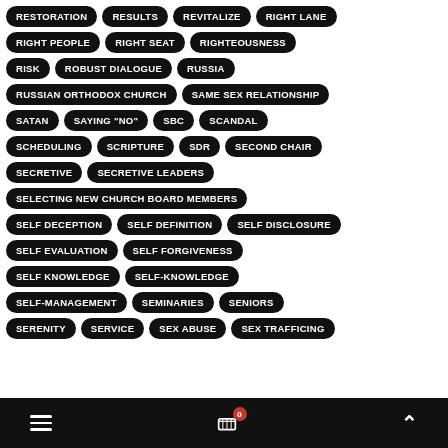RESTORATION
RESULTS
REVITALIZE
RIGHT LANE
RIGHT PEOPLE
RIGHT SEAT
RIGHTEOUSNESS
RISK
ROBUST DIALOGUE
RUSSIA
RUSSIAN ORTHODOX CHURCH
SAME SEX RELATIONSHIP
SATAN
SAYING "NO"
SBC
SCANDAL
SCHEDULING
SCRIPTURE
SDR
SECOND CHAIR
SECRETIVE
SECRETIVE LEADERS
SELECTING NEW CHURCH BOARD MEMBERS
SELF DECEPTION
SELF DEFINITION
SELF DISCLOSURE
SELF EVALUATION
SELF FORGIVENESS
SELF KNOWLEDGE
SELF-KNOWLEDGE
SELF-MANAGEMENT
SEMINARIES
SENIORS
SERENITY
SERVICE
SEX ABUSE
SEX TRAFFICING
≡  🛒 0  ∧